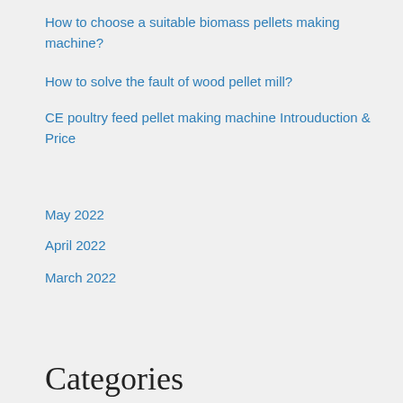How to choose a suitable biomass pellets making machine?
How to solve the fault of wood pellet mill?
CE poultry feed pellet making machine Introuduction & Price
May 2022
April 2022
March 2022
Categories